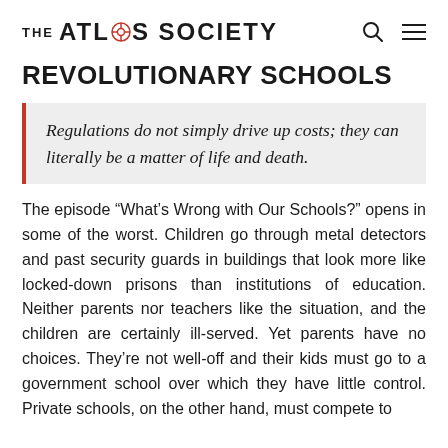THE ATLAS SOCIETY
REVOLUTIONARY SCHOOLS
Regulations do not simply drive up costs; they can literally be a matter of life and death.
The episode “What’s Wrong with Our Schools?” opens in some of the worst. Children go through metal detectors and past security guards in buildings that look more like locked-down prisons than institutions of education. Neither parents nor teachers like the situation, and the children are certainly ill-served. Yet parents have no choices. They’re not well-off and their kids must go to a government school over which they have little control. Private schools, on the other hand, must compete to